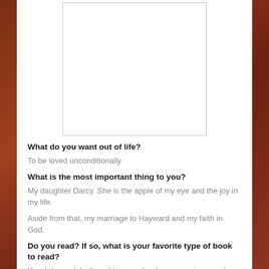[Figure (other): White rectangular image placeholder with a thin gray border]
What do you want out of life?
To be loved unconditionally.
What is the most important thing to you?
My daughter Darcy. She is the apple of my eye and the joy in my life.
Aside from that, my marriage to Hayward and my faith in God.
Do you read? If so, what is your favorite type of book to read?
Yes, I do read. In the wilderness, books are precious, so I value